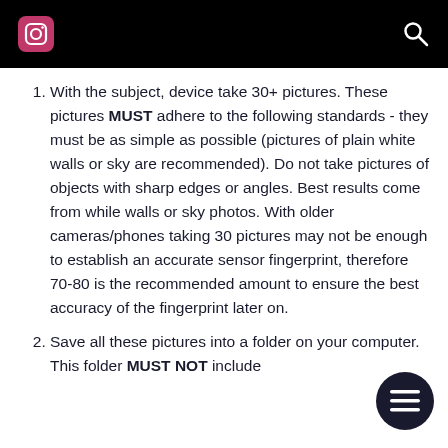Instagram header bar with logo and search icon
With the subject, device take 30+ pictures. These pictures MUST adhere to the following standards - they must be as simple as possible (pictures of plain white walls or sky are recommended). Do not take pictures of objects with sharp edges or angles. Best results come from while walls or sky photos. With older cameras/phones taking 30 pictures may not be enough to establish an accurate sensor fingerprint, therefore 70-80 is the recommended amount to ensure the best accuracy of the fingerprint later on.
Save all these pictures into a folder on your computer. This folder MUST NOT include